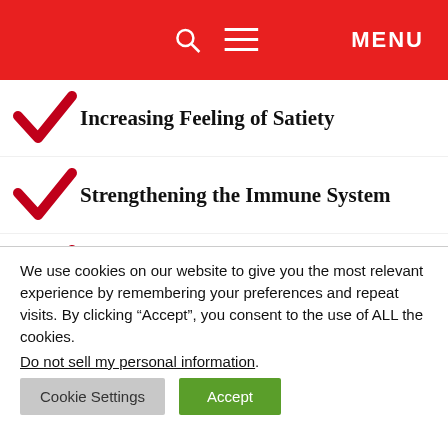MENU
Increasing Feeling of Satiety
Strengthening the Immune System
Lowering the Craving for Sweets
We use cookies on our website to give you the most relevant experience by remembering your preferences and repeat visits. By clicking “Accept”, you consent to the use of ALL the cookies.
Do not sell my personal information.